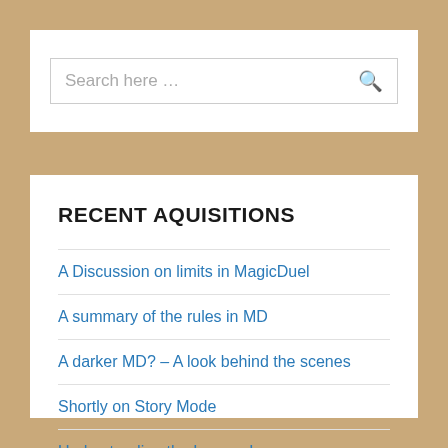[Figure (screenshot): Search input field with placeholder text 'Search here …' and a search icon on the right]
RECENT AQUISITIONS
A Discussion on limits in MagicDuel
A summary of the rules in MD
A darker MD? – A look behind the scenes
Shortly on Story Mode
Understanding the Law on Lore